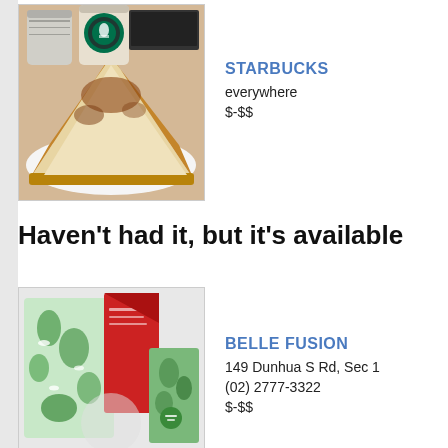[Figure (photo): A photo showing a slice of cheesecake on a white plate with a Starbucks coffee cup and a plain cup in the background]
STARBUCKS
everywhere
$-$$
Haven't had it, but it's available
[Figure (photo): A photo showing colorful floral patterned items/bags with a red folded paper and green tropical leaf design packaging]
BELLE FUSION
149 Dunhua S Rd, Sec 1
(02) 2777-3322
$-$$